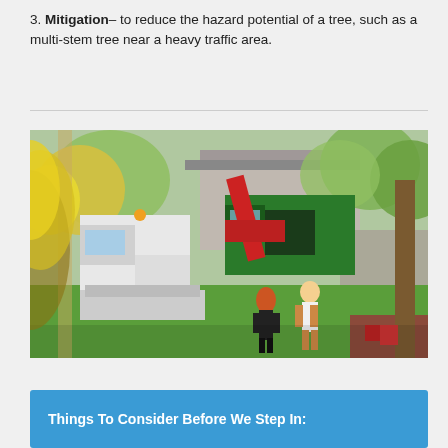3. Mitigation– to reduce the hazard potential of a tree, such as a multi-stem tree near a heavy traffic area.
[Figure (photo): Outdoor scene showing tree trimming/removal workers with a green wood chipper truck and red crane arm, with two workers in the foreground walking on a grass lawn. Surrounded by spring trees with yellow-green leaves.]
Things To Consider Before We Step In: